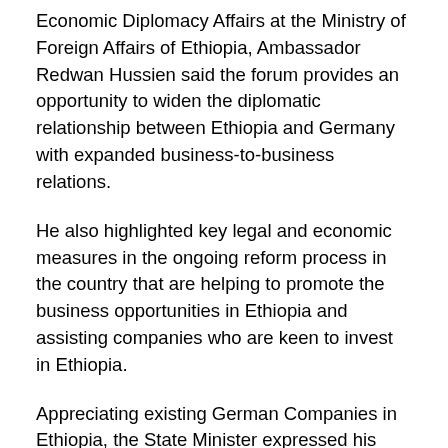Economic Diplomacy Affairs at the Ministry of Foreign Affairs of Ethiopia, Ambassador Redwan Hussien said the forum provides an opportunity to widen the diplomatic relationship between Ethiopia and Germany with expanded business-to-business relations.
He also highlighted key legal and economic measures in the ongoing reform process in the country that are helping to promote the business opportunities in Ethiopia and assisting companies who are keen to invest in Ethiopia.
Appreciating existing German Companies in Ethiopia, the State Minister expressed his belief that the flow of FDI from Germany would grow and other businesses would follow the footsteps of these companies.
Ambassador Redwan, finally, called upon the German Government to give more support to German companies interested to do business in Ethiopia through facilitating